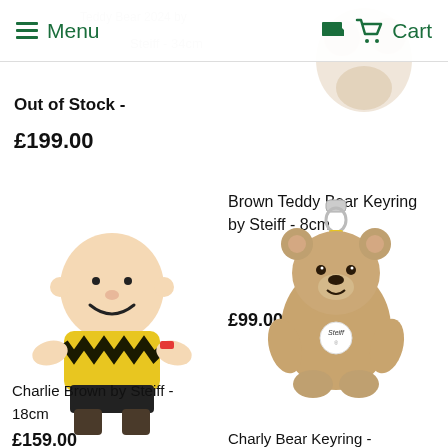Menu | Cart
Out of Stock -
£199.00
[Figure (photo): Partial view of a teddy bear product at the top right, partially cut off]
Brown Teddy Bear Keyring by Steiff - 8cm
£99.00
[Figure (photo): Charlie Brown by Steiff plush toy, wearing yellow shirt with black zigzag pattern, 18cm]
[Figure (photo): Charly Bear Keyring by Steiff, a small fluffy brown teddy bear with a metal clip keyring]
Charlie Brown by Steiff - 18cm
£159.00
Charly Bear Keyring -